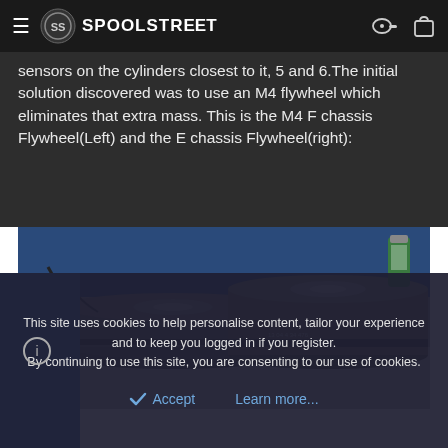SPOOLSTREET
sensors on the cylinders closest to it, 5 and 6.The initial solution discovered was to use an M4 flywheel which eliminates that extra mass. This is the M4 F chassis Flywheel(Left) and the E chassis Flywheel(right):
[Figure (photo): Two BMW flywheels side by side on a workbench — M4 F chassis flywheel (left, smaller/thinner) and E chassis flywheel (right, larger/thicker), both showing ring gear teeth around the circumference. A green aerosol can is visible in the background.]
This site uses cookies to help personalise content, tailor your experience and to keep you logged in if you register.
By continuing to use this site, you are consenting to our use of cookies.